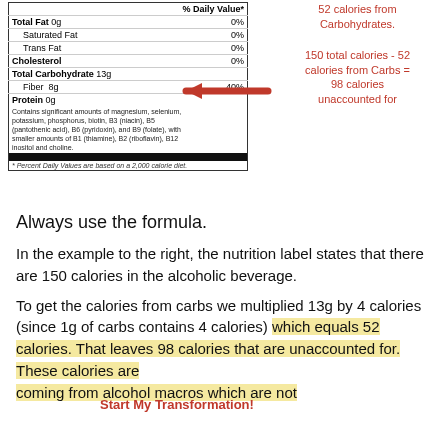[Figure (other): Nutrition facts label showing Total Fat 0g 0%, Saturated Fat 0%, Trans Fat 0%, Cholesterol 0%, Total Carbohydrate 13g, Fiber 8g 40%, Protein 0g, with nutrients list and footnote. A red arrow points to Total Carbohydrate 13g row.]
52 calories from Carbohydrates.
150 total calories - 52 calories from Carbs = 98 calories unaccounted for
Always use the formula.
In the example to the right, the nutrition label states that there are 150 calories in the alcoholic beverage.
To get the calories from carbs we multiplied 13g by 4 calories (since 1g of carbs contains 4 calories) which equals 52 calories. That leaves 98 calories that are unaccounted for. These calories are coming from alcohol macros which are not